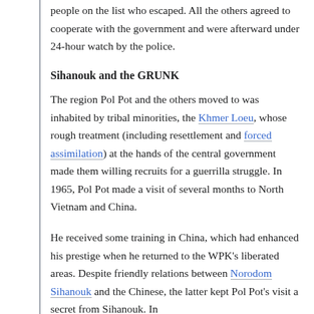people on the list who escaped. All the others agreed to cooperate with the government and were afterward under 24-hour watch by the police.
Sihanouk and the GRUNK
The region Pol Pot and the others moved to was inhabited by tribal minorities, the Khmer Loeu, whose rough treatment (including resettlement and forced assimilation) at the hands of the central government made them willing recruits for a guerrilla struggle. In 1965, Pol Pot made a visit of several months to North Vietnam and China.
He received some training in China, which had enhanced his prestige when he returned to the WPK's liberated areas. Despite friendly relations between Norodom Sihanouk and the Chinese, the latter kept Pol Pot's visit a secret from Sihanouk. In